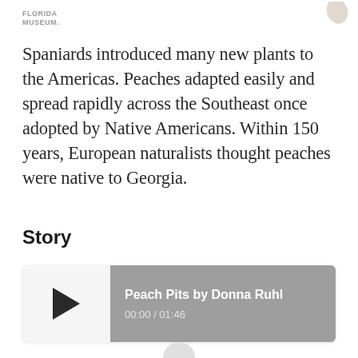FLORIDA MUSEUM.
Spaniards introduced many new plants to the Americas. Peaches adapted easily and spread rapidly across the Southeast once adopted by Native Americans. Within 150 years, European naturalists thought peaches were native to Georgia.
Story
[Figure (other): Audio player widget showing 'Peach Pits by Donna Ruhl' with play button and time 00:00 / 01:46]